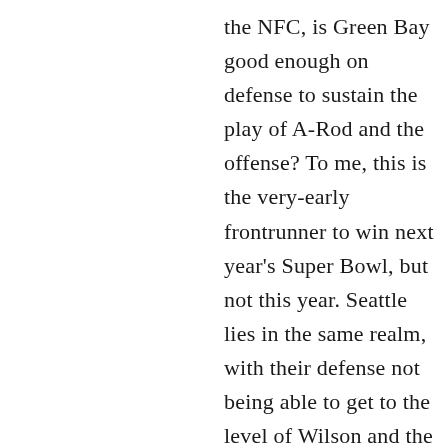the NFC, is Green Bay good enough on defense to sustain the play of A-Rod and the offense? To me, this is the very-early frontrunner to win next year's Super Bowl, but not this year. Seattle lies in the same realm, with their defense not being able to get to the level of Wilson and the offense. The Saints and Chiefs have complete rosters, and defenses good enough to meet the level of the offense and keep them in it. Kansas City has dropped games this year due to Mahomes